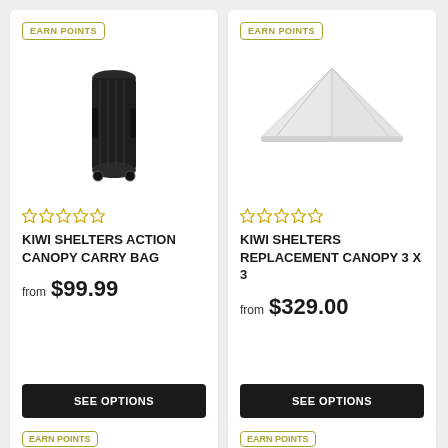EARN POINTS
[Figure (photo): Black rolled-up canopy carry bag with handles and straps]
☆☆☆☆☆
KIWI SHELTERS ACTION CANOPY CARRY BAG
from $99.99
SEE OPTIONS
EARN POINTS
[Figure (photo): White replacement canopy top viewed from above, triangular tent shape]
☆☆☆☆☆
KIWI SHELTERS REPLACEMENT CANOPY 3 X 3
from $329.00
SEE OPTIONS